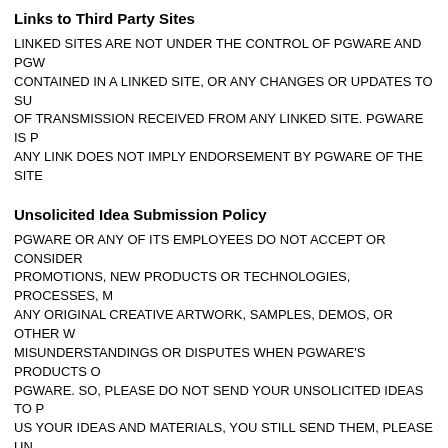Links to Third Party Sites
LINKED SITES ARE NOT UNDER THE CONTROL OF PGWARE AND PGW... CONTAINED IN A LINKED SITE, OR ANY CHANGES OR UPDATES TO SU... OF TRANSMISSION RECEIVED FROM ANY LINKED SITE. PGWARE IS P... ANY LINK DOES NOT IMPLY ENDORSEMENT BY PGWARE OF THE SITE...
Unsolicited Idea Submission Policy
PGWARE OR ANY OF ITS EMPLOYEES DO NOT ACCEPT OR CONSIDER... PROMOTIONS, NEW PRODUCTS OR TECHNOLOGIES, PROCESSES, M... ANY ORIGINAL CREATIVE ARTWORK, SAMPLES, DEMOS, OR OTHER W... MISUNDERSTANDINGS OR DISPUTES WHEN PGWARE'S PRODUCTS O... PGWARE. SO, PLEASE DO NOT SEND YOUR UNSOLICITED IDEAS TO P... US YOUR IDEAS AND MATERIALS, YOU STILL SEND THEM, PLEASE UN... MATERIALS WILL BE TREATED AS CONFIDENTIAL OR PROPRIETARY.
Software Piracy
Our software programs are protected by copyright law and international treat... criminal penalties, and will be prosecuted to the maximum extent possible un...
Using illegally obtained serial codes, cracks, patches, key generators with ou...